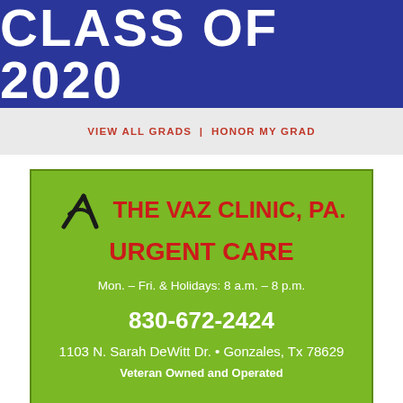CLASS OF 2020
VIEW ALL GRADS  |  HONOR MY GRAD
[Figure (infographic): Advertisement for The Vaz Clinic, PA. Urgent Care on a green background. Includes logo, clinic name in red, hours (Mon. – Fri. & Holidays: 8 a.m. – 8 p.m.), phone number 830-672-2424, address 1103 N. Sarah DeWitt Dr. • Gonzales, Tx 78629, and tagline Veteran Owned and Operated.]